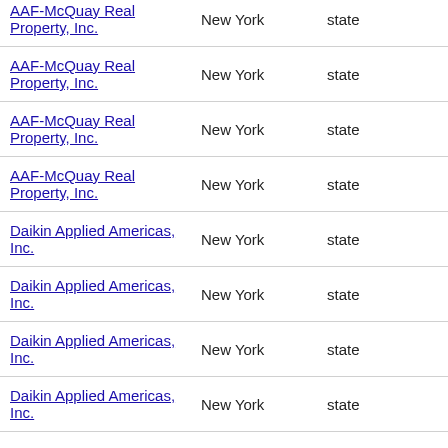| AAF-McQuay Real Property, Inc. | New York | state | 2011 |
| AAF-McQuay Real Property, Inc. | New York | state | 2012 |
| AAF-McQuay Real Property, Inc. | New York | state | 2013 |
| AAF-McQuay Real Property, Inc. | New York | state | 2014 |
| Daikin Applied Americas, Inc. | New York | state | 2001 |
| Daikin Applied Americas, Inc. | New York | state | 2002 |
| Daikin Applied Americas, Inc. | New York | state | 2013 |
| Daikin Applied Americas, Inc. | New York | state | 2014 |